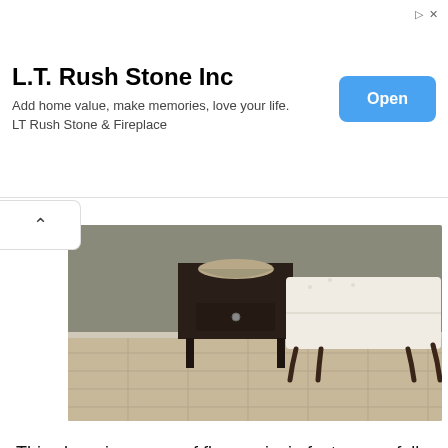[Figure (other): Advertisement banner for L.T. Rush Stone Inc with Open button]
[Figure (photo): Interior room photo showing a white upholstered ottoman/footstool with dark wooden legs next to a dark wooden side table with a bowl on top, on beige tile floor]
This charming spray of flowers is, in fact, a carefully crafted paper sculpture. The limited colour palette of white against hues of pink is both beautiful and visually interesting and has clearly taken inspiration from blooms such as the living plants underneath it in hue